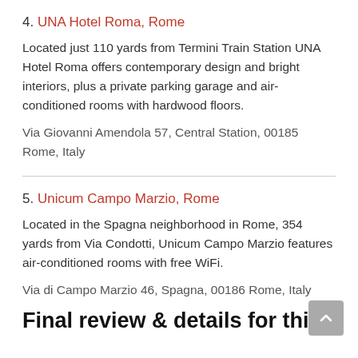4. UNA Hotel Roma, Rome
Located just 110 yards from Termini Train Station UNA Hotel Roma offers contemporary design and bright interiors, plus a private parking garage and air-conditioned rooms with hardwood floors.
Via Giovanni Amendola 57, Central Station, 00185 Rome, Italy
5. Unicum Campo Marzio, Rome
Located in the Spagna neighborhood in Rome, 354 yards from Via Condotti, Unicum Campo Marzio features air-conditioned rooms with free WiFi.
Via di Campo Marzio 46, Spagna, 00186 Rome, Italy
Final review & details for this